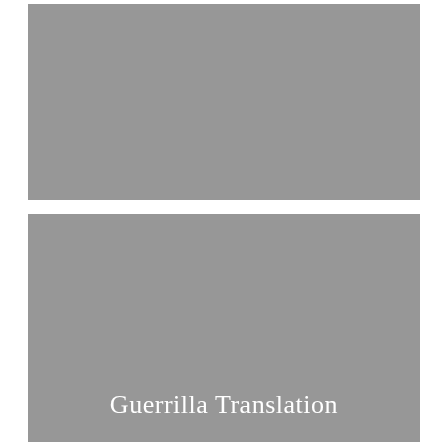[Figure (photo): Top gray rectangular placeholder image]
[Figure (photo): Bottom gray rectangular image with white serif text 'Guerrilla Translation' at the bottom center]